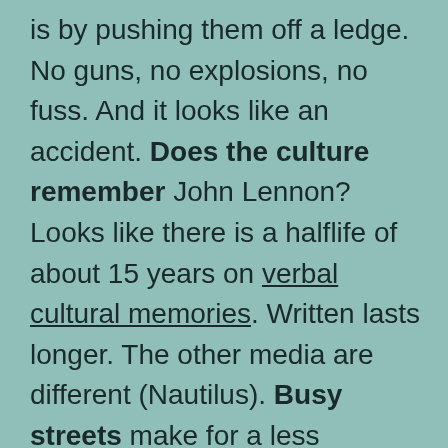is by pushing them off a ledge. No guns, no explosions, no fuss. And it looks like an accident. Does the culture remember John Lennon? Looks like there is a halflife of about 15 years on verbal cultural memories. Written lasts longer. The other media are different (Nautilus). Busy streets make for a less engaged community. Fewer friends and acquaintences (Kottke). Here's one to get mad about. Small towns in the US make money by fining poor people. It has become a business model. Weird time fold with a 50's TV show. Texas western where a snake oil salesman